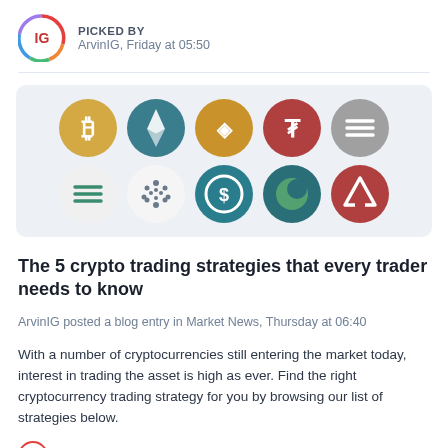PICKED BY
ArvinIG, Friday at 05:50
[Figure (illustration): Row of cryptocurrency coin logos: Bitcoin (gold), Ethereum (teal), Binance (gold), Tether (red), Solana (gray) in top row; Solana (white/green), Cardano (white/dots), USD Coin (teal), Terra (teal/green), Avalanche (red) in bottom row]
The 5 crypto trading strategies that every trader needs to know
ArvinIG posted a blog entry in Market News, Thursday at 06:40
With a number of cryptocurrencies still entering the market today, interest in trading the asset is high as ever. Find the right cryptocurrency trading strategy for you by browsing our list of strategies below.
0 replies